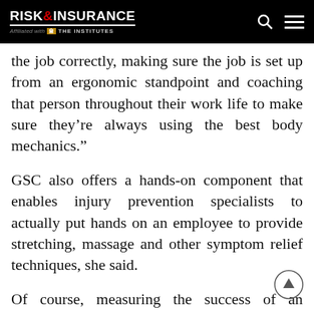RISK & INSURANCE — Affiliated with THE INSTITUTES
the job correctly, making sure the job is set up from an ergonomic standpoint and coaching that person throughout their work life to make sure they’re always using the best body mechanics.”
GSC also offers a hands-on component that enables injury prevention specialists to actually put hands on an employee to provide stretching, massage and other symptom relief techniques, she said.
Of course, measuring the success of an industrial athletics program also is crucial